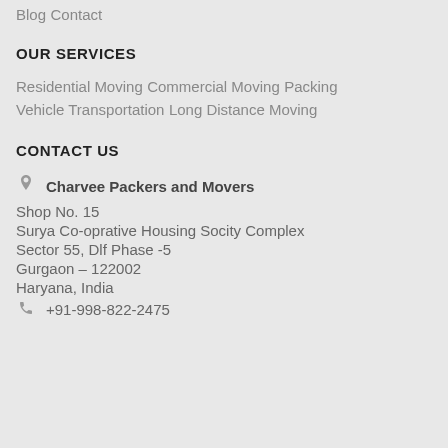Blog
Contact
OUR SERVICES
Residential Moving
Commercial Moving
Packing
Vehicle Transportation
Long Distance Moving
CONTACT US
Charvee Packers and Movers
Shop No. 15
Surya Co-oprative Housing Socity Complex
Sector 55, Dlf Phase -5
Gurgaon – 122002
Haryana, India
+91-998-822-2475